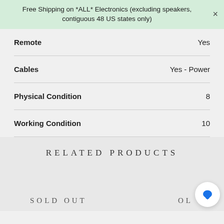Free Shipping on *ALL* Electronics (excluding speakers, contiguous 48 US states only)
| Attribute | Value |
| --- | --- |
| Remote | Yes |
| Cables | Yes - Power |
| Physical Condition | 8 |
| Working Condition | 10 |
RELATED PRODUCTS
SOLD OUT